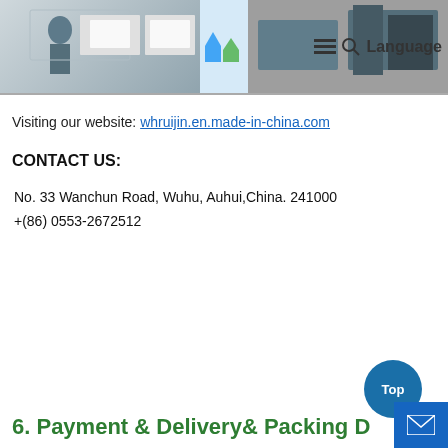[Figure (screenshot): Website header with company logo, two factory/product photos, navigation icons (hamburger menu, search), and Language button]
Visiting our website: whruijin.en.made-in-china.com
CONTACT US:
No. 33 Wanchun Road, Wuhu, Auhui,China. 241000
+(86) 0553-2672512
6. Payment & Delivery& Packing D